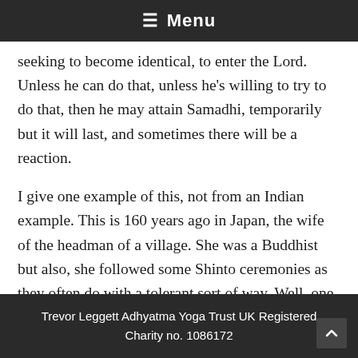≡ Menu
seeking to become identical, to enter the Lord. Unless he can do that, unless he's willing to try to do that, then he may attain Samadhi, temporarily but it will last, and sometimes there will be a reaction.
I give one example of this, not from an Indian example. This is 160 years ago in Japan, the wife of the headman of a village. She was a Buddhist but also, she followed some Shinto ceremonies as they often do with a tolerant sort of way. Well, one day
Trevor Leggett Adhyatma Yoga Trust UK Registered Charity no. 1086172